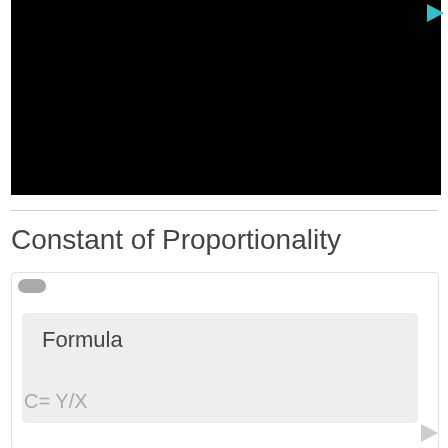[Figure (screenshot): Black video player area with a teal/cyan play triangle icon in the top-right corner]
Constant of Proportionality
Formula